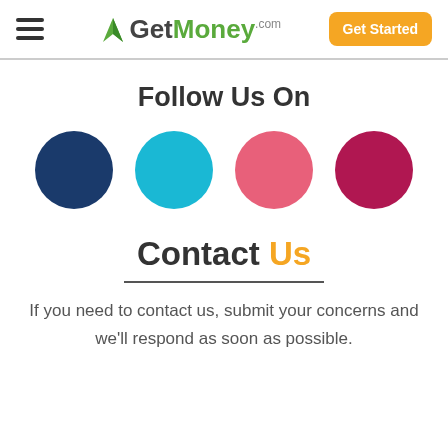GetMoney.com — Get Started
Follow Us On
[Figure (illustration): Four social media circles: dark blue (Facebook), cyan (Twitter), pink (Google+), dark pink/red (Pinterest)]
Contact Us
If you need to contact us, submit your concerns and we'll respond as soon as possible.